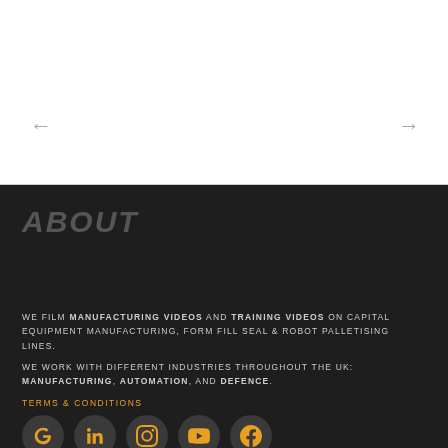[Figure (other): Navigation arrows (left and right) on a white background section]
ABOUT
WE FILM MANUFACTURING VIDEOS AND TRAINING VIDEOS ON CAPITAL EQUIPMENT MANUFACTURING, FORM FILL SEAL & ROBOT PALLETISING LINES.
WE WORK WITH DIFFERENT INDUSTRIES THROUGHOUT THE UK: MANUFACTURING, AUTOMATION, AND DEFENCE.
TERMS & CONDITIONS
[Figure (other): Social media icons row: Google, LinkedIn, Instagram, YouTube, Facebook]